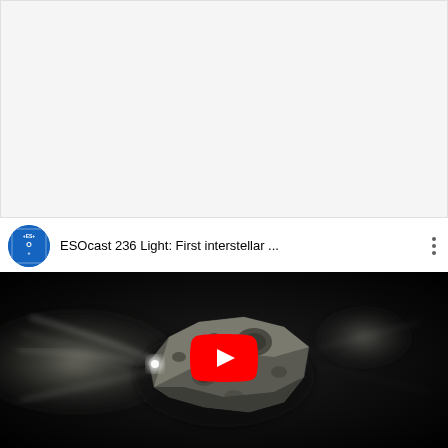[Figure (other): White/light gray empty rectangular area at top of page]
[Figure (screenshot): YouTube video embed showing ESOcast 236 Light: First interstellar ... with ESO logo, video title, three-dot menu, and a rocky comet/asteroid image on dark background with YouTube play button overlay]